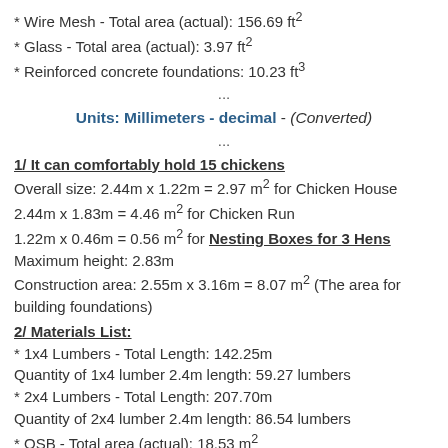* Wire Mesh - Total area (actual): 156.69 ft²
* Glass - Total area (actual): 3.97 ft²
* Reinforced concrete foundations: 10.23 ft³
...
Units: Millimeters - decimal - (Converted)
...
1/ It can comfortably hold 15 chickens
Overall size: 2.44m x 1.22m = 2.97 m² for Chicken House
2.44m x 1.83m = 4.46 m² for Chicken Run
1.22m x 0.46m = 0.56 m² for Nesting Boxes for 3 Hens
Maximum height: 2.83m
Construction area: 2.55m x 3.16m = 8.07 m² (The area for building foundations)
2/ Materials List:
* 1x4 Lumbers - Total Length: 142.25m
Quantity of 1x4 lumber 2.4m length: 59.27 lumbers
* 2x4 Lumbers - Total Length: 207.70m
Quantity of 2x4 lumber 2.4m length: 86.54 lumbers
* OSB - Total area (actual): 18.53 m²
Quantity of OSB with 1.2x2.4m: 6.43 osb
* Plywood Siding - Total area (actual): 11.57 m²
Quantity of OSB with 1.2x2.4m: 4.02 ply